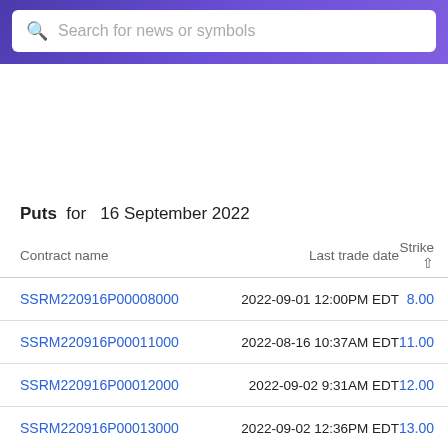Search for news or symbols
Puts  for  16 September 2022
| Contract name | Last trade date | Strike ↑ |
| --- | --- | --- |
| SSRM220916P00008000 | 2022-09-01 12:00PM EDT | 8.00 |
| SSRM220916P00011000 | 2022-08-16 10:37AM EDT | 11.00 |
| SSRM220916P00012000 | 2022-09-02 9:31AM EDT | 12.00 |
| SSRM220916P00013000 | 2022-09-02 12:36PM EDT | 13.00 |